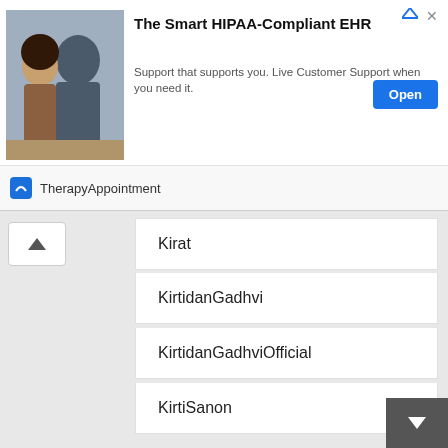[Figure (screenshot): Advertisement banner for TherapyAppointment featuring 'The Smart HIPAA-Compliant EHR' with a photo of two people, an Open button, and the TherapyAppointment brand logo.]
Kirat
KirtidanGadhvi
KirtidanGadhviOfficial
KirtiSanon
KishanPaliwal
Kishore kumar
KK